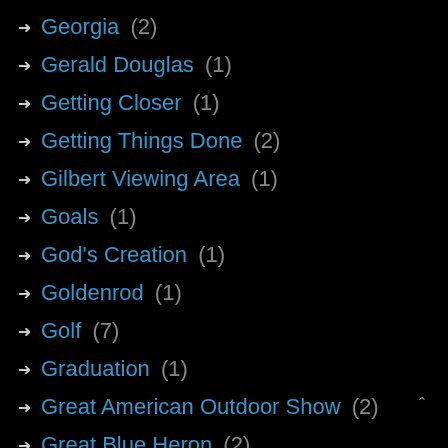Georgia (2)
Gerald Douglas (1)
Getting Closer (1)
Getting Things Done (2)
Gilbert Viewing Area (1)
Goals (1)
God's Creation (1)
Goldenrod (1)
Golf (7)
Graduation (1)
Great American Outdoor Show (2)
Great Blue Heron (2)
Great Egret (1)